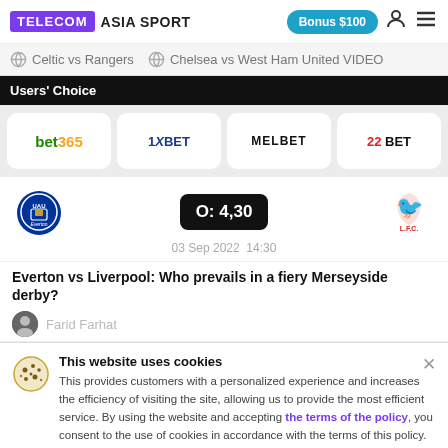TELECOM ASIA SPORT | Bonus $100
Celtic vs Rangers | Chelsea vs West Ham United VIDEO
Users' Choice
[Figure (logo): Bookmakers logos row: bet365, 1XBET, MELBET, 22BET]
[Figure (infographic): Match card: Everton vs Liverpool, O: 4,30, 03 Sep 2022 14:30]
Everton vs Liverpool: Who prevails in a fiery Merseyside derby?
Farid Farhat
This website uses cookies
This provides customers with a personalized experience and increases the efficiency of visiting the site, allowing us to provide the most efficient service. By using the website and accepting the terms of the policy, you consent to the use of cookies in accordance with the terms of this policy.
I agree